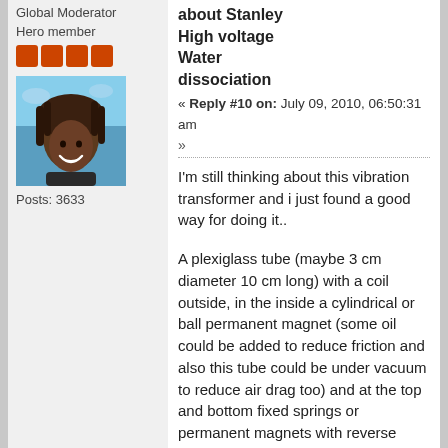Global Moderator
Hero member
[Figure (other): Four orange square rank badges in a row]
[Figure (photo): Avatar photo of a person with dreadlocks smiling, sky background]
Posts: 3633
about Stanley High voltage Water dissociation
« Reply #10 on: July 09, 2010, 06:50:31 am »
I'm still thinking about this vibration transformer and i just found a good way for doing it..
A plexiglass tube (maybe 3 cm diameter 10 cm long) with a coil outside, in the inside a cylindrical or ball permanent magnet (some oil could be added to reduce friction and also this tube could be under vacuum to reduce air drag too) and at the top and bottom fixed springs or permanent magnets with reverse polarity to the face of the in magnet.